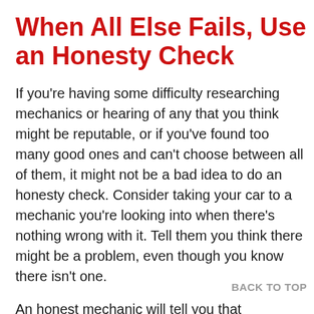When All Else Fails, Use an Honesty Check
If you're having some difficulty researching mechanics or hearing of any that you think might be reputable, or if you've found too many good ones and can't choose between all of them, it might not be a bad idea to do an honesty check. Consider taking your car to a mechanic you're looking into when there's nothing wrong with it. Tell them you think there might be a problem, even though you know there isn't one.
An honest mechanic will tell you that everything looks fine – a dishone to find something wrong with yo always untilizing this tactic is t
BACK TO TOP